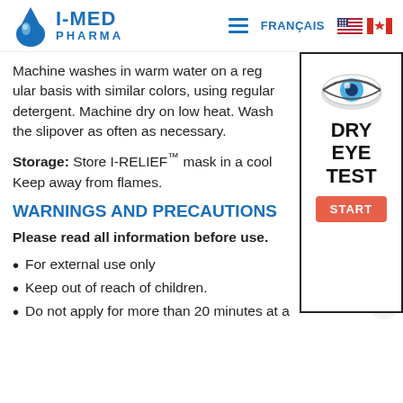I-MED PHARMA | FRANÇAIS
Machine washes in warm water on a reg... with similar colors, using regular deterge... Machine dry on low heat. Wash the slipo... often as necessary.
Storage: Store I-RELIEF™ mask in a cool... Keep away from flames.
WARNINGS AND PRECAUTIONS
Please read all information before use.
[Figure (illustration): Sidebar widget showing a stylized eye icon, bold text 'DRY EYE TEST', and an orange 'START' button, enclosed in a bordered box.]
For external use only
Keep out of reach of children.
Do not apply for more than 20 minutes at a